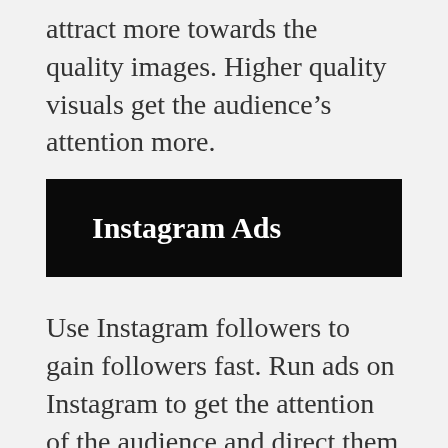attract more towards the quality images. Higher quality visuals get the audience’s attention more.
Instagram Ads
Use Instagram followers to gain followers fast. Run ads on Instagram to get the attention of the audience and direct them towards your blog.
The Ads just look like the normal posts on